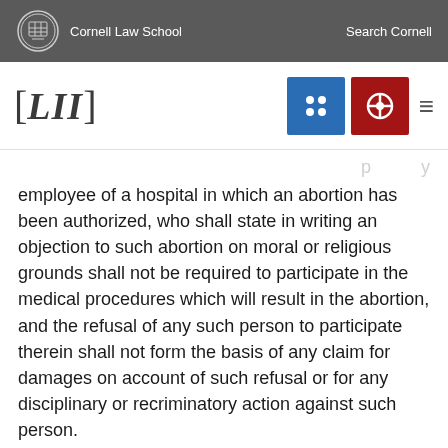Cornell Law School | Search Cornell
[Figure (logo): LII (Legal Information Institute) navigation bar with Cornell seal, LII bracket logo, grid icon, search icon, and hamburger menu]
employee of a hospital in which an abortion has been authorized, who shall state in writing an objection to such abortion on moral or religious grounds shall not be required to participate in the medical procedures which will result in the abortion, and the refusal of any such person to participate therein shall not form the basis of any claim for damages on account of such refusal or for any disciplinary or recriminatory action against such person.
71
26—1203. Punishment. A person convicted of criminal abortion shall be punished by imprisonment for not less than one year nor the...